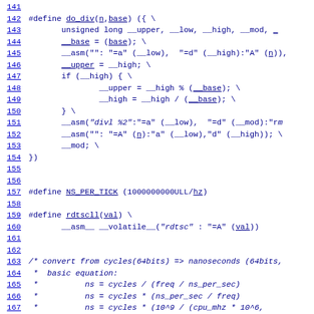Source code listing lines 141-172, C preprocessor macros and comments
141
142 #define do_div(n,base) ({ \
143         unsigned long __upper, __low, __high, __mod, _
144         __base = (base); \
145         __asm("": "=a" (__low), "=d" (__high):"A" (n)),
146         __upper = __high; \
147         if (__high) { \
148                 __upper = __high % (__base); \
149                 __high = __high / (__base); \
150         } \
151         __asm("divl %2":"=a" (__low), "=d" (__mod):"rm
152         __asm("": "=A" (n):"a" (__low),"d" (__high)); \
153         __mod; \
154 })
155
156
157 #define NS_PER_TICK (1000000000ULL/hz)
158
159 #define rdtscll(val) \
160         __asm__ __volatile__("rdtsc" : "=A" (val))
161
162
163 /* convert from cycles(64bits) => nanoseconds (64bits,
164  *  basic equation:
165  *          ns = cycles / (freq / ns_per_sec)
166  *          ns = cycles * (ns_per_sec / freq)
167  *          ns = cycles * (10^9 / (cpu_mhz * 10^6,
168  *          ns = cycles * (10^3 / cpu_mhz)
169  *
170  *     Then we use scaling math (suggested by george@
171  *          ns = cycles * (10^3 * SC / cpu_mhz) /
172  *          ns = cycles * cyc2ns_scale / SC